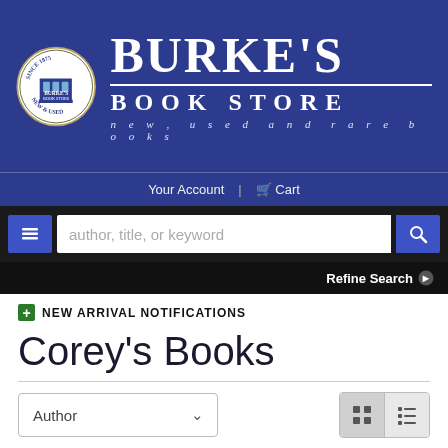[Figure (logo): Burke's Book Store logo — navy banner with circular seal and large text 'BURKE'S BOOK STORE new, used and rare books']
Your Account | Cart
author, title, or keyword (search bar)
Refine Search
+ NEW ARRIVAL NOTIFICATIONS
Corey's Books
Author (sort dropdown)
Results 1 - 25 (of 60)  Corey's Books ✕